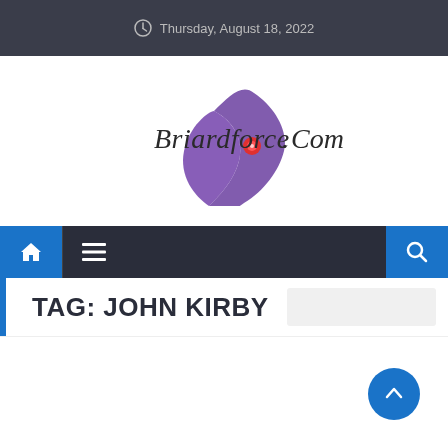Thursday, August 18, 2022
[Figure (logo): BriardForce.Com logo with stylized purple lightning bolt / hand graphic and red dot accent]
[Figure (other): Navigation bar with home icon, menu (hamburger) icon, and search icon]
TAG: JOHN KIRBY